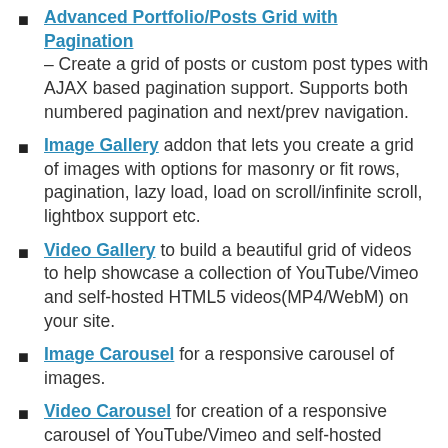Advanced Portfolio/Posts Grid with Pagination – Create a grid of posts or custom post types with AJAX based pagination support. Supports both numbered pagination and next/prev navigation.
Image Gallery addon that lets you create a grid of images with options for masonry or fit rows, pagination, lazy load, load on scroll/infinite scroll, lightbox support etc.
Video Gallery to build a beautiful grid of videos to help showcase a collection of YouTube/Vimeo and self-hosted HTML5 videos(MP4/WebM) on your site.
Image Carousel for a responsive carousel of images.
Video Carousel for creation of a responsive carousel of YouTube/Vimeo and self-hosted HTML5(MP4/WebM) videos.
Twitter Grid that talks to the Twitter API to help